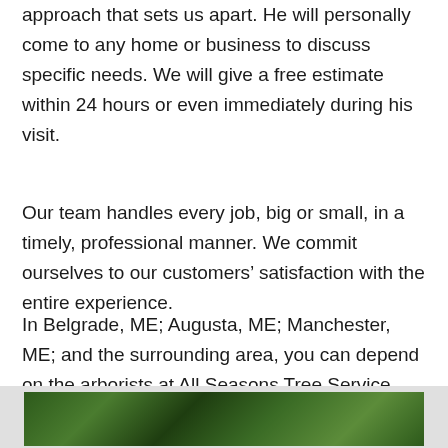approach that sets us apart. He will personally come to any home or business to discuss specific needs. We will give a free estimate within 24 hours or even immediately during his visit.
Our team handles every job, big or small, in a timely, professional manner. We commit ourselves to our customers' satisfaction with the entire experience.
In Belgrade, ME; Augusta, ME; Manchester, ME; and the surrounding area, you can depend on the arborists at All Seasons Tree Service, LLC for tree removal, tree pruning, lot clearing, emergency storm damage, and more.
[Figure (photo): Partial photo of trees/forest visible at the bottom of the page, showing green forest scenery]